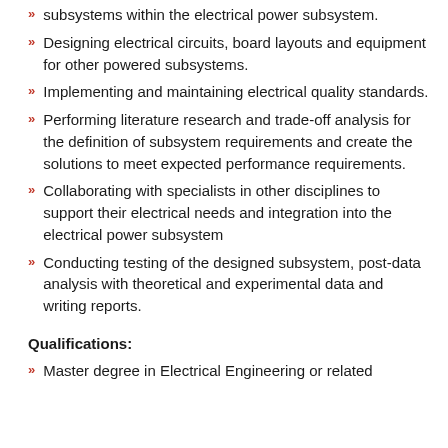subsystems within the electrical power subsystem.
Designing electrical circuits, board layouts and equipment for other powered subsystems.
Implementing and maintaining electrical quality standards.
Performing literature research and trade-off analysis for the definition of subsystem requirements and create the solutions to meet expected performance requirements.
Collaborating with specialists in other disciplines to support their electrical needs and integration into the electrical power subsystem
Conducting testing of the designed subsystem, post-data analysis with theoretical and experimental data and writing reports.
Qualifications:
Master degree in Electrical Engineering or related